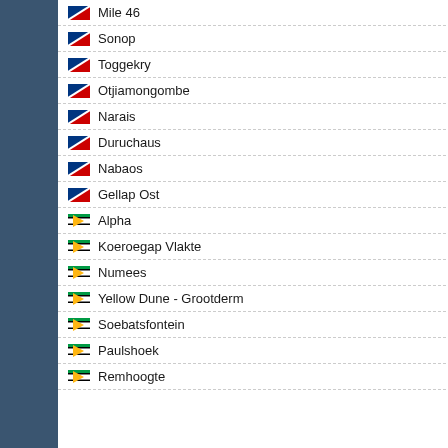Mile 46
Sonop
Toggekry
Otjiamongombe
Narais
Duruchaus
Nabaos
Gellap Ost
Alpha
Koeroegap Vlakte
Numees
Yellow Dune - Grootderm
Soebatsfontein
Paulshoek
Remhoogte
| # |  |  |
| --- | --- | --- |
| 29 | 1 | 46 |
| 30 | 2 | 11 |
| 31 | 5 | 7 |
| 32 | 5 | 29 |
| 33 | 4 | 57 |
| 34 | 4 | 52 |
| 35 | 4 | 31 |
| 36 | 3 | 78 |
| 37 | 3 | 87 |
| 38 | 1 | 13 |
| 39 | 1 | 70 |
| 40 | 2 | 59 |
| 41 | 3 | 6 |
| 42 | 5 | 39 |
| 43 | 3 | 99 |
| 44 | 4 | 20 |
| 45 | 4 | 3 |
| 46 | 3 | 58 |
| 47 | 1 | 55 |
| 48 | 1 | 24 |
| 49 | 1 | 50 |
| 50 | 2 | 38 |
| 51 | 2 | 69 |
| 52 | 3 | 85 |
| 53 | 3 | 66 |
[Figure (logo): Sponsored by the Federal Ministry of Education logo with German eagle]
SPONSORED BY THE Federal Ministry of Education